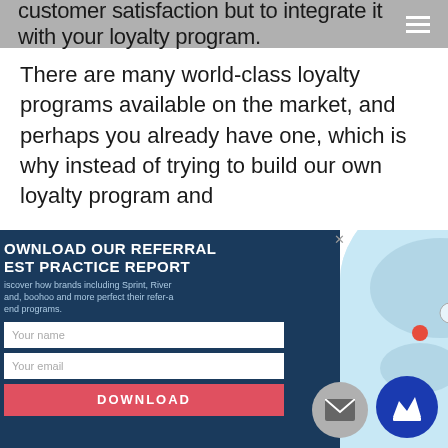customer satisfaction but to integrate it with your loyalty program.
There are many world-class loyalty programs available on the market, and perhaps you already have one, which is why instead of trying to build our own loyalty program and
[Figure (infographic): Popup overlay with dark blue left panel containing 'DOWNLOAD OUR REFERRAL BEST PRACTICE REPORT' form with name/email inputs and a Download button, and a world map social network graphic on the right.]